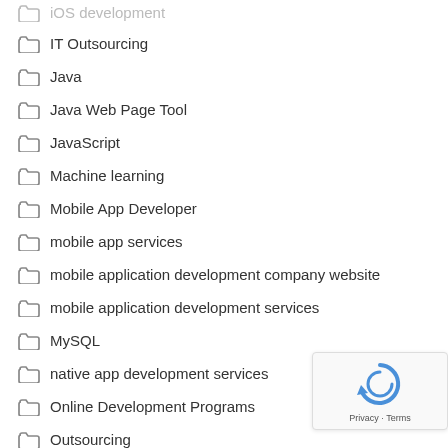iOS development
IT Outsourcing
Java
Java Web Page Tool
JavaScript
Machine learning
Mobile App Developer
mobile app services
mobile application development company website
mobile application development services
MySQL
native app development services
Online Development Programs
Outsourcing
[Figure (logo): reCAPTCHA logo with Privacy and Terms text]